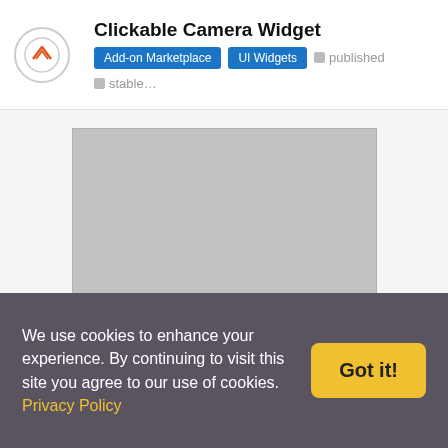Clickable Camera Widget
Add-on Marketplace  UI Widgets  published  stable…
[Figure (screenshot): Gray placeholder preview image of a camera widget]
Tags
Point
Semantic Classification
class  Room
hasLocation  Warehouse
Direct Parent Groups
MainHouse
We use cookies to enhance your experience. By continuing to visit this site you agree to our use of cookies. Privacy Policy